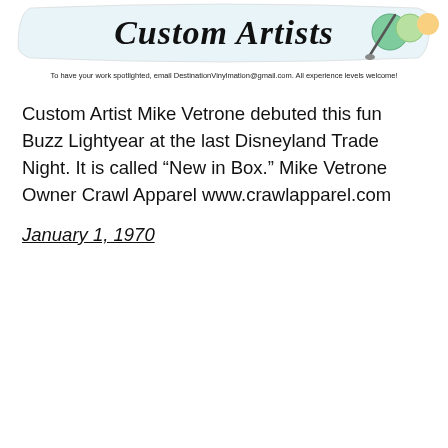[Figure (logo): Custom Artists logo with stylized script text and decorative painted Easter eggs/figures on a white banner background]
To have your work spotlighted, email DestinationVinylmation@gmail.com. All experience levels welcome!
Custom Artist Mike Vetrone debuted this fun Buzz Lightyear at the last Disneyland Trade Night. It is called “New in Box.” Mike Vetrone Owner Crawl Apparel www.crawlapparel.com
January 1, 1970